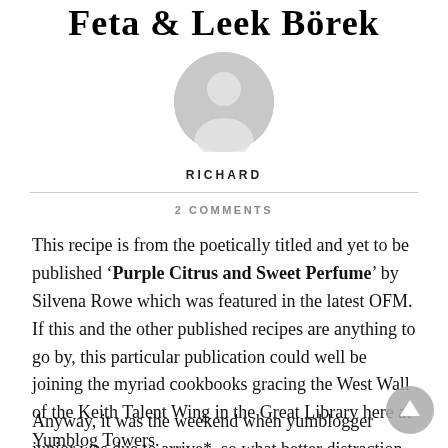Feta & Leek Börek
[Figure (illustration): Generic user avatar — grey circle with a silhouette of a person (head and shoulders), representing the author's profile image.]
RICHARD
2 COMMENTS
This recipe is from the poetically titled and yet to be published 'Purple Citrus and Sweet Perfume' by Silvena Rowe which was featured in the latest OFM. If this and the other published recipes are anything to go by, this particular publication could well be joining the myriad cookbooks gracing the West Wall of the Keith Talent Wing in the Great Library here at Yumblog Towers.
Anyway, it was the weekend when yumblogger junior was due to arrive*, so what better distraction from impending